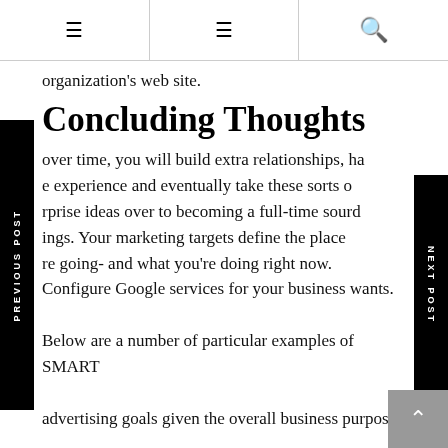≡  ≡  🔍
organization's web site.
Concluding Thoughts
over time, you will build extra relationships, ha e experience and eventually take these sorts o rprise ideas over to becoming a full-time sourd ings. Your marketing targets define the place re going- and what you're doing right now. Configure Google services for your business wants. Below are a number of particular examples of SMART advertising goals given the overall business purpose. Along with websites, companies are increasingly